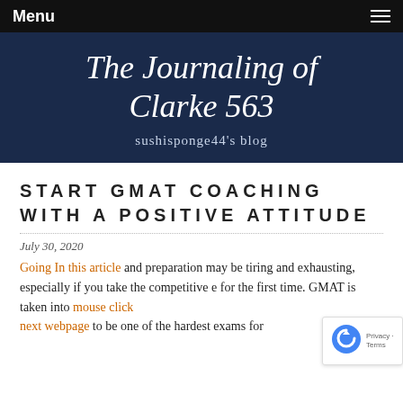Menu
The Journaling of Clarke 563
sushisponge44's blog
START GMAT COACHING WITH A POSITIVE ATTITUDE
July 30, 2020
Going In this article and preparation may be tiring and exhausting, especially if you take the competitive for the first time. GMAT is taken into mouse click next webpage to be one of the hardest exams for